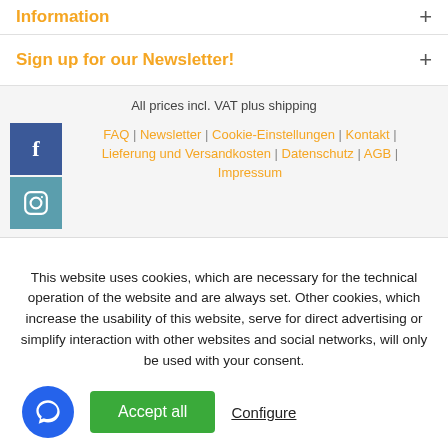Information +
Sign up for our Newsletter! +
All prices incl. VAT plus shipping
FAQ | Newsletter | Cookie-Einstellungen | Kontakt | Lieferung und Versandkosten | Datenschutz | AGB | Impressum
This website uses cookies, which are necessary for the technical operation of the website and are always set. Other cookies, which increase the usability of this website, serve for direct advertising or simplify interaction with other websites and social networks, will only be used with your consent.
Accept all  Configure